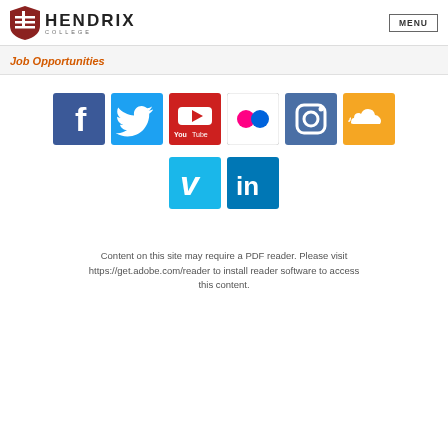Hendrix College — MENU
Job Opportunities
[Figure (other): Social media icons row 1: Facebook, Twitter, YouTube, Flickr, Instagram, SoundCloud]
[Figure (other): Social media icons row 2: Vimeo, LinkedIn]
Content on this site may require a PDF reader. Please visit https://get.adobe.com/reader to install reader software to access this content.